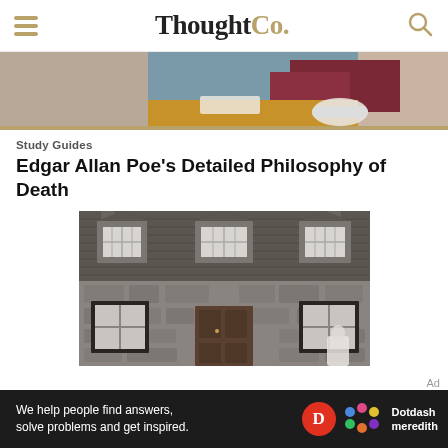ThoughtCo.
[Figure (photo): Partial photo of a person reading a book, showing pillows and a chair in warm tones, cropped at top of page]
Study Guides
Edgar Allan Poe's Detailed Philosophy of Death
[Figure (photo): Black and white photograph of a stone cottage or house with three dormer windows on the roof, two ground-floor windows, a central dark wooden door, and a white-dressed figure partially visible at bottom right]
We help people find answers, solve problems and get inspired. Dotdash meredith